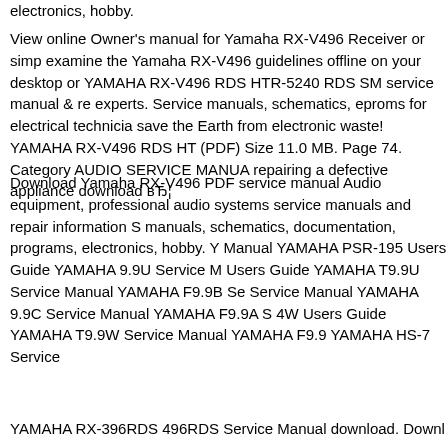electronics, hobby.
View online Owner's manual for Yamaha RX-V496 Receiver or simp examine the Yamaha RX-V496 guidelines offline on your desktop or YAMAHA RX-V496 RDS HTR-5240 RDS SM service manual & re experts. Service manuals, schematics, eproms for electrical technicia save the Earth from electronic waste! YAMAHA RX-V496 RDS HT (PDF) Size 11.0 MB. Page 74. Category AUDIO SERVICE MANUA repairing a defective appliance download вЂ¦
Download Yamaha RX-V496 PDF service manual Audio equipment, professional audio systems service manuals and repair information S manuals, schematics, documentation, programs, electronics, hobby. Y Manual YAMAHA PSR-195 Users Guide YAMAHA 9.9U Service M Users Guide YAMAHA T9.9U Service Manual YAMAHA F9.9B Se Service Manual YAMAHA 9.9C Service Manual YAMAHA F9.9A S 4W Users Guide YAMAHA T9.9W Service Manual YAMAHA F9.9 YAMAHA HS-7 Service
YAMAHA RX-396RDS 496RDS Service Manual download. Downl